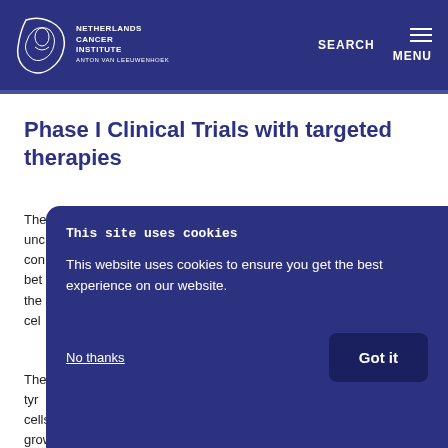NETHERLANDS CANCER INSTITUTE ANTON VAN LEEUWENHOEK | SEARCH | MENU
Phase I Clinical Trials with targeted therapies
The... (partially obscured by cookie overlay)
The... tyr... cells, which can cause uncontrolled cellular signaling and growth.
This site uses cookies
This website uses cookies to ensure you get the best experience on our website.
No thanks   Got it